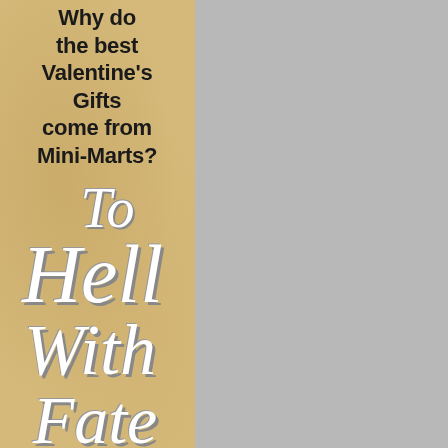[Figure (illustration): Book cover bookmark design on kraft/tan paper background with gray area to the right. Shows text 'Why do the best Valentine's Gifts come from Mini-Marts?' in bold sans-serif at top, and 'To Hell With Fate' in large white cursive/italic script below.]
Why do the best Valentine's Gifts come from Mini-Marts?
To Hell With Fate